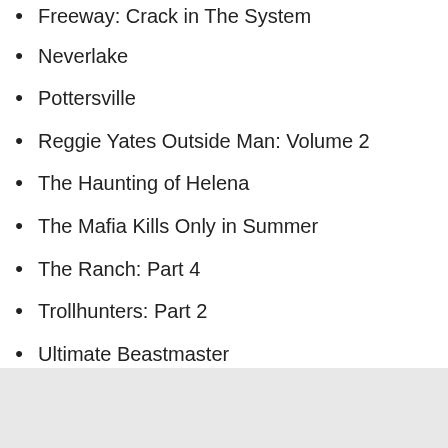Freeway: Crack in The System
Neverlake
Pottersville
Reggie Yates Outside Man: Volume 2
The Haunting of Helena
The Mafia Kills Only in Summer
The Ranch: Part 4
Trollhunters: Part 2
Ultimate Beastmaster
Wormwood
Dec. 18